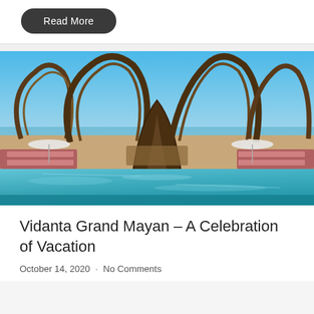Read More
[Figure (photo): Luxury resort pool area with distinctive arch-shaped wooden pergola structures, umbrella-shaded lounge areas with purple/pink cushions, and a large infinity pool in the foreground. Ocean visible in the background under a clear blue sky.]
Vidanta Grand Mayan – A Celebration of Vacation
October 14, 2020 · No Comments